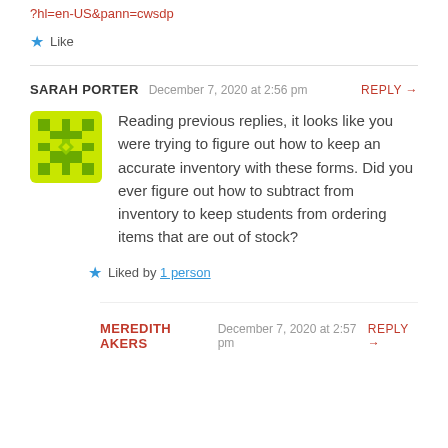?hl=en-US&pann=cwsdp
★ Like
SARAH PORTER   December 7, 2020 at 2:56 pm   REPLY →
Reading previous replies, it looks like you were trying to figure out how to keep an accurate inventory with these forms. Did you ever figure out how to subtract from inventory to keep students from ordering items that are out of stock?
★ Liked by 1 person
MEREDITH AKERS   December 7, 2020 at 2:57 pm   REPLY →